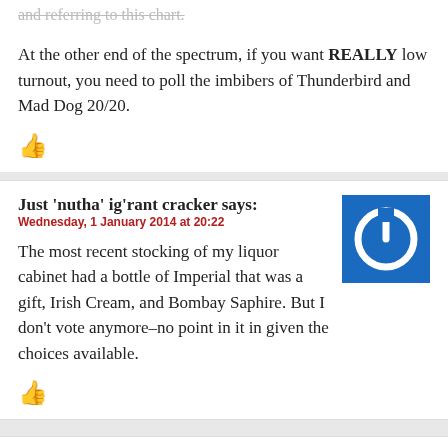and referring to this chart.
At the other end of the spectrum, if you want REALLY low turnout, you need to poll the imbibers of Thunderbird and Mad Dog 20/20.
👍
Just 'nutha' ig'rant cracker says:
Wednesday, 1 January 2014 at 20:22
The most recent stocking of my liquor cabinet had a bottle of Imperial that was a gift, Irish Cream, and Bombay Saphire. But I don't vote anymore–no point in it in given the choices available.
👍
ernieyeball says: